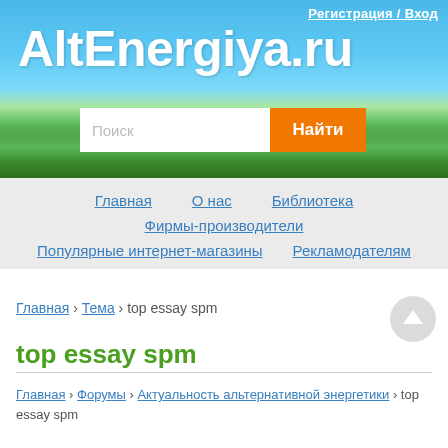[Figure (screenshot): AltEnergiya.ru website header with blue sky and green grass background, search bar with orange button]
AltEnergiya.ru
Регистрация / Вход
Поиск | Найти
Главная   О нас   Библиотека
Фирмы-производители
Популярные интернет-магазины   Рекламодателям
Главная › Тема › top essay spm
top essay spm
Главная › Форумы › Актуальность альтернативной энергетики › top essay spm